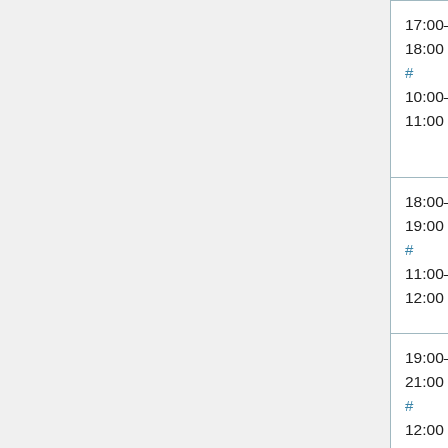| Time | Topic | Attendees |
| --- | --- | --- |
| 17:00–18:00 UTC # 10:00–11:00 PDT | Services – Graphoid / Parsoid / OCG / Citoid / ORES | Yuri (yurik), C... (gwicke), C.S... (cscott), Arlo (arlolra), Su... (subbu), Aaron (halfak), Ami... (Amir1) |
| 18:00–19:00 UTC # 11:00–12:00 PDT | Morning SWAT (Max 8 patches) | Brad (anomie), ... (ostriches), ... (thcipriani), Antoine (hash...), Mukunda (twentyafter...) |
| 19:00–21:00 UTC # 12:00... | MediaWiki train | To Be Determin... (TBD) |